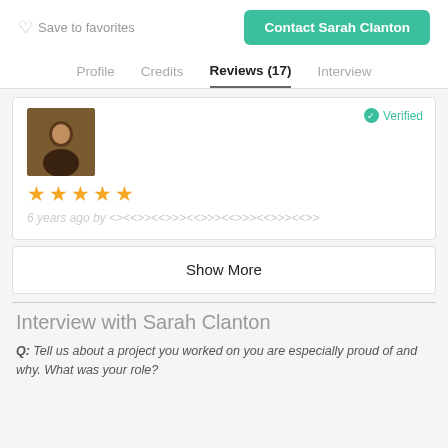Save to favorites
Contact Sarah Clanton
Profile   Credits   Reviews (17)   Interview
Verified
[Figure (photo): Small square thumbnail photo of a person, dark background]
★★★★★ (5 stars)
6 years ago by <><<>><<>>><<>>><<>>><<>>><<>>
Show More
Interview with Sarah Clanton
Q: Tell us about a project you worked on you are especially proud of and why. What was your role?